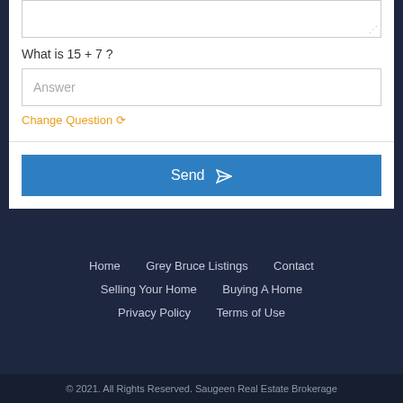[Figure (screenshot): Textarea input box (partially visible) with resize handle at bottom-right corner]
What is 15 + 7 ?
[Figure (screenshot): Text input field with placeholder text 'Answer']
Change Question ↻
Send
Home   Grey Bruce Listings   Contact   Selling Your Home   Buying A Home   Privacy Policy   Terms of Use
© 2021. All Rights Reserved. Saugeen Real Estate Brokerage